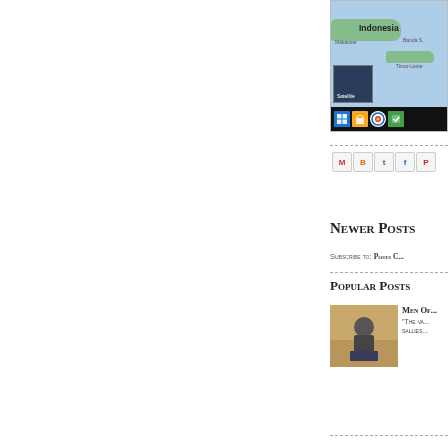[Figure (screenshot): Screenshot of a map showing Indonesia region with satellite view thumbnail and Windows taskbar at bottom]
[Figure (screenshot): Social sharing buttons: Gmail, Blogger, Twitter, Facebook, Pinterest]
Newer Posts
Subscribe to: Posts C (Atom)
Popular Posts
[Figure (photo): Photo of a man speaking at a podium]
Men Of...
"The va... sallies...